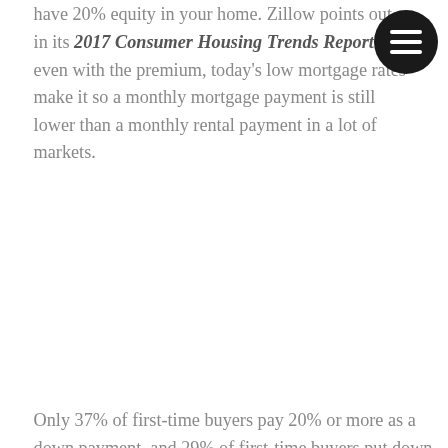have 20% equity in your home. Zillow points out in its 2017 Consumer Housing Trends Report that even with the premium, today's low mortgage rates make it so a monthly mortgage payment is still lower than a monthly rental payment in a lot of markets.
Only 37% of first-time buyers pay 20% or more as a down payment, and 29% of first-time buyers put down 3 to 9%. Overall, only 24% of buyers pay 20% of their home's purchase price upfront as a down payment, and an additional 21% put more than 20% down.
You don’t need to spend every penny of the amount you’re qualified for